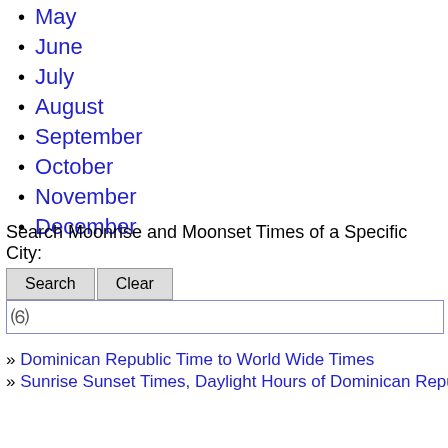May
June
July
August
September
October
November
December
Search Moonrise and Moonset Times of a Specific City:
» Dominican Republic Time to World Wide Times
» Sunrise Sunset Times, Daylight Hours of Dominican Repu...